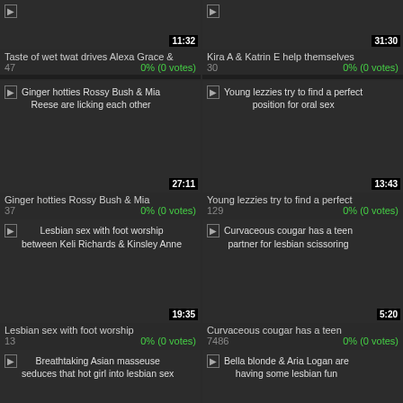[Figure (screenshot): Video thumbnail: Taste of wet twat drives Alexa Grace &, duration 11:32]
Taste of wet twat drives Alexa Grace &
47  0% (0 votes)
[Figure (screenshot): Video thumbnail: Kira A & Katrin E help themselves, duration 31:30]
Kira A & Katrin E help themselves
30  0% (0 votes)
[Figure (screenshot): Video thumbnail: Ginger hotties Rossy Bush & Mia Reese are licking each other, duration 27:11]
Ginger hotties Rossy Bush & Mia
37  0% (0 votes)
[Figure (screenshot): Video thumbnail: Young lezzies try to find a perfect position for oral sex, duration 13:43]
Young lezzies try to find a perfect
129  0% (0 votes)
[Figure (screenshot): Video thumbnail: Lesbian sex with foot worship between Keli Richards & Kinsley Anne, duration 19:35]
Lesbian sex with foot worship
13  0% (0 votes)
[Figure (screenshot): Video thumbnail: Curvaceous cougar has a teen partner for lesbian scissoring, duration 5:20]
Curvaceous cougar has a teen
7486  0% (0 votes)
[Figure (screenshot): Video thumbnail: Breathtaking Asian masseuse seduces that hot girl into lesbian sex]
[Figure (screenshot): Video thumbnail: Bella blonde & Aria Logan are having some lesbian fun]